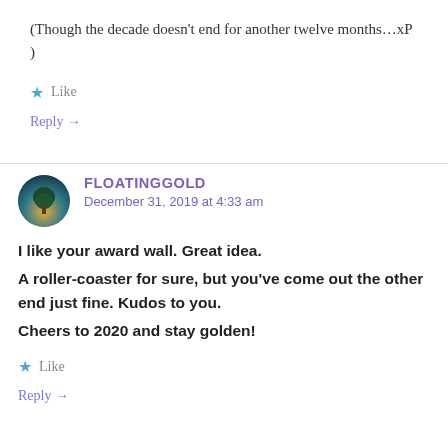(Though the decade doesn't end for another twelve months…xP )
★ Like
Reply →
FLOATINGGOLD
December 31, 2019 at 4:33 am
I like your award wall. Great idea.
A roller-coaster for sure, but you've come out the other end just fine. Kudos to you.
Cheers to 2020 and stay golden!
★ Like
Reply →